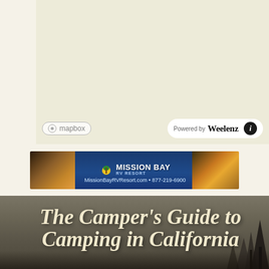[Figure (map): Mapbox map area with light beige/tan background, showing map content. Bottom bar shows Mapbox logo on left and 'Powered by Weelenz' badge with info button on right.]
[Figure (photo): Mission Bay RV Resort advertisement banner. Blue pentagon-shaped logo with palm tree and sun, text reads 'Mission Bay RV Resort', 'MissionBayRVResort.com • 877-219-6900'. Flanked by sunset/marina photos.]
The Camper's Guide to Camping in California